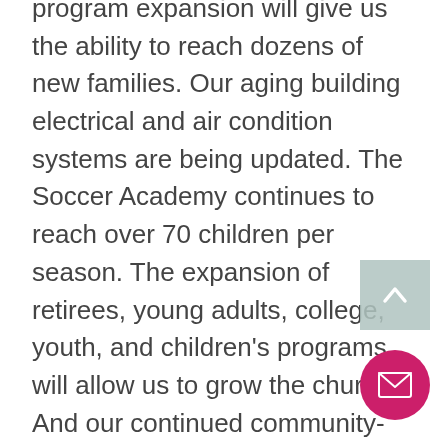program expansion will give us the ability to reach dozens of new families. Our aging building electrical and air condition systems are being updated. The Soccer Academy continues to reach over 70 children per season. The expansion of retirees, young adults, college, youth, and children's programs will allow us to grow the church. And our continued community-centered events and small groups are building upon our ability to develop authentic relationships within our church, neighborhood, and city. We are growing!

My prayer is that each of us will examine how we can bring God the
[Figure (other): A light teal/sage colored square button with an upward-pointing chevron/caret arrow, used as a scroll-to-top button]
[Figure (other): A circular hot pink/magenta button with a white envelope icon, used as a contact/email button]